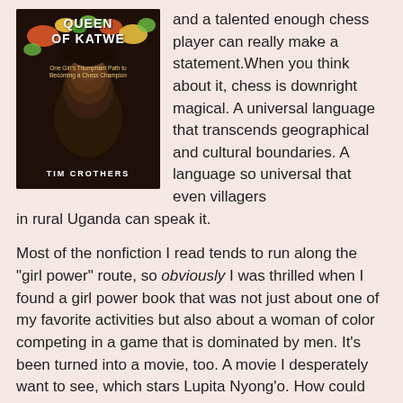[Figure (illustration): Book cover of 'Queen of Katwe: One Girl's Triumphant Path to Becoming a Chess Champion' by Tim Crothers, showing a person from behind with their head adorned with colorful items.]
and a talented enough chess player can really make a statement.When you think about it, chess is downright magical. A universal language that transcends geographical and cultural boundaries. A language so universal that even villagers in rural Uganda can speak it.
Most of the nonfiction I read tends to run along the "girl power" route, so obviously I was thrilled when I found a girl power book that was not just about one of my favorite activities but also about a woman of color competing in a game that is dominated by men. It's been turned into a movie, too. A movie I desperately want to see, which stars Lupita Nyong'o. How could this not be good?
Well...I noticed a lot of the reviews for this book were not so great. That surprised me, because books like these usually have great reviews because people find them so inspiring or